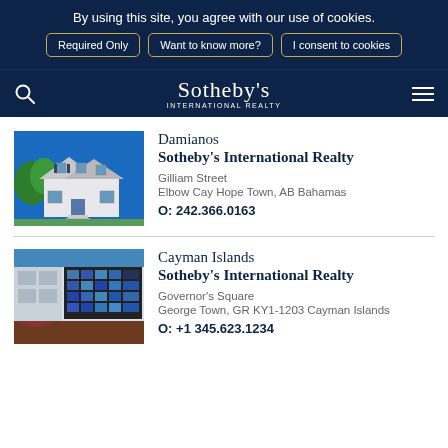By using this site, you agree with our use of cookies.
Required Only | Want to know more? | I consent to cookies
Sotheby's International Realty
Damianos
Sotheby's International Realty
Gilliam Street
Elbow Cay Hope Town, AB Bahamas
O: 242.366.0163
Cayman Islands
Sotheby's International Realty
Governor's Square
George Town, GR KY1-1203 Cayman Islands
O: +1 345.623.1234